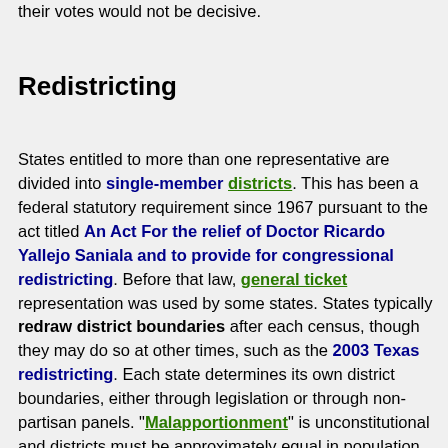their votes would not be decisive.
Redistricting
States entitled to more than one representative are divided into single-member districts. This has been a federal statutory requirement since 1967 pursuant to the act titled An Act For the relief of Doctor Ricardo Yallejo Saniala and to provide for congressional redistricting. Before that law, general ticket representation was used by some states. States typically redraw district boundaries after each census, though they may do so at other times, such as the 2003 Texas redistricting. Each state determines its own district boundaries, either through legislation or through non-partisan panels. "Malapportionment" is unconstitutional and districts must be approximately equal in population (see "Wesberry v. Sanders"). Additionally, Section 2 of the Voting Rights Act of 1965 prohibits redistricting plans that are intended to, or have the effect of, discriminating against racial or language minority voters. Aside from